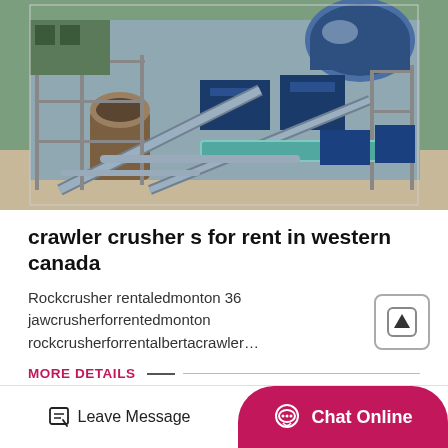[Figure (photo): Industrial rock crusher / mining plant machinery with conveyor belts, drums, and steel framework structures photographed outdoors]
crawler crusher s for rent in western canada
Rockcrusher rentaledmonton 36 jawcrusherforrentedmonton rockcrusherforrentalbertacrawler…
MORE DETAILS ___
Leave Message   Chat Online